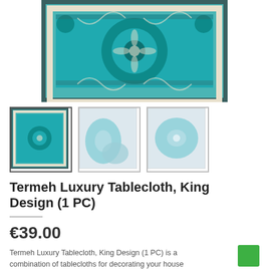[Figure (photo): Main product photo of a turquoise Persian tablecloth with ornate medallion design, shown partially cropped at top]
[Figure (photo): Three thumbnail images of the tablecloth product: first shows full turquoise design on dark background (selected/bordered), second shows light blue tablecloth folded, third shows light blue tablecloth laid flat]
Termeh Luxury Tablecloth, King Design (1 PC)
€39.00
Termeh Luxury Tablecloth, King Design (1 PC) is a combination of tablecloths for decorating your house with Persian ancient art in high quality. It is a square